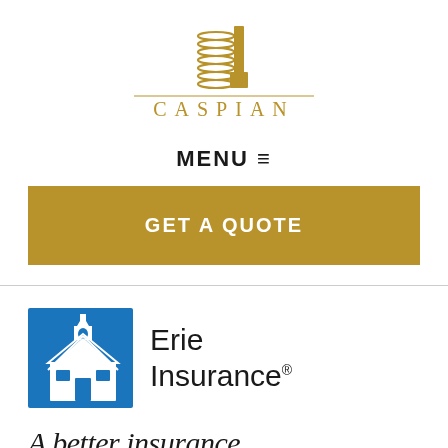[Figure (logo): Caspian logo: gold building icon above a horizontal gold line with the word CASPIAN in gold spaced capital letters]
MENU ≡
GET A QUOTE
[Figure (logo): Erie Insurance logo: blue square with white house/church steeple illustration, text 'Erie Insurance' with registered trademark symbol]
A better insurance